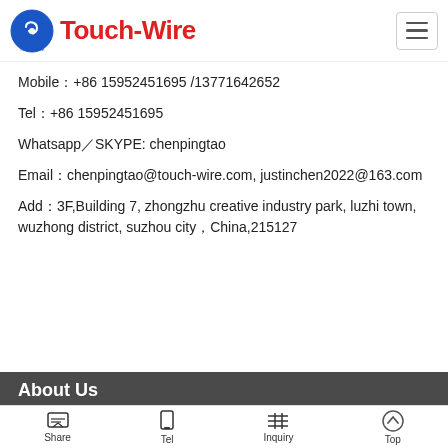Touch-Wire
Mobile：+86 15952451695 /13771642652
Tel：+86 15952451695
Whatsapp／SKYPE: chenpingtao
Email：chenpingtao@touch-wire.com, justinchen2022@163.com
Add：3F,Building 7, zhongzhu creative industry park, luzhi town, wuzhong district, suzhou city，China,215127
About Us
SuZhou TouchWire Electronic Technology Co. Ltd is a
Share  Tel  Inquiry  Top